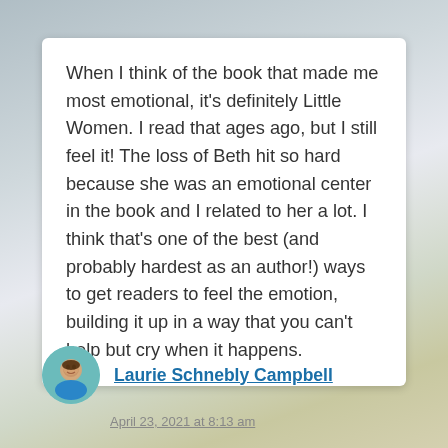When I think of the book that made me most emotional, it's definitely Little Women. I read that ages ago, but I still feel it! The loss of Beth hit so hard because she was an emotional center in the book and I related to her a lot. I think that's one of the best (and probably hardest as an author!) ways to get readers to feel the emotion, building it up in a way that you can't help but cry when it happens.
Laurie Schnebly Campbell
April 23, 2021 at 8:13 am